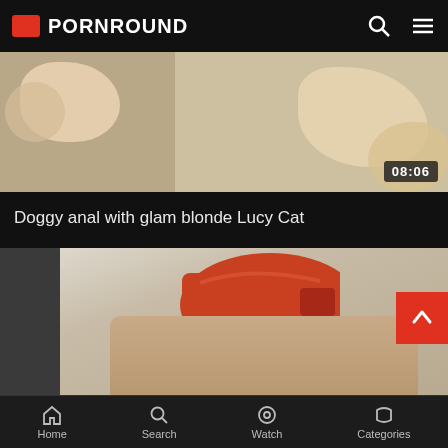PORNROUND
[Figure (screenshot): Thumbnail strip showing a video preview with duration badge 08:06]
Doggy anal with glam blonde Lucy Cat
[Figure (screenshot): Main video thumbnail showing a woman wearing a backwards orange baseball cap outdoors]
Home  Search  Watch  Categories